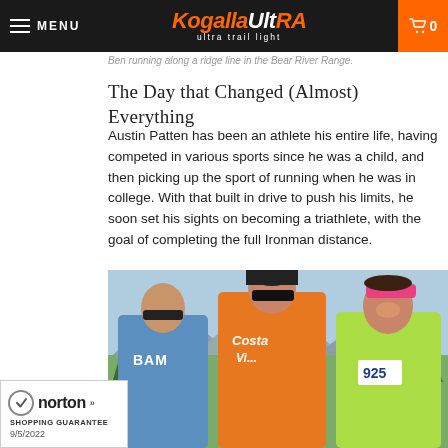MENU | KogallaUltRA ultra trail light | 0
Ben running along a ridge line in the Bear River Range.
The Day that Changed (Almost) Everything
Austin Patten has been an athlete his entire life, having competed in various sports since he was a child, and then picking up the sport of running when he was in college. With that built in drive to push his limits, he soon set his sights on becoming a triathlete, with the goal of completing the full Ironman distance.
[Figure (photo): Three runners racing outdoors: a bald man in a blue BAM jersey with sunglasses on the left, a man in an orange Costa Vida singlet with a black cap in the center, and a smiling woman in a yellow/green tank top with race bib number 925 on the right. Trees and mountains visible in the background.]
[Figure (logo): Norton Shopping Guarantee badge with checkmark, brand name 'norton', arrows, and date 9/5/2022]